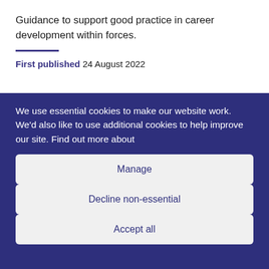Guidance to support good practice in career development within forces.
First published 24 August 2022
We use essential cookies to make our website work. We'd also like to use additional cookies to help improve our site. Find out more about
Manage
Decline non-essential
Accept all